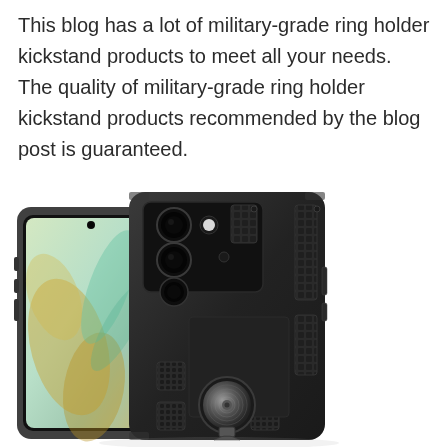This blog has a lot of military-grade ring holder kickstand products to meet all your needs. The quality of military-grade ring holder kickstand products recommended by the blog post is guaranteed.
[Figure (photo): A black military-grade ring holder kickstand phone case shown from two angles: front showing the phone screen with a decorative wallpaper, and rear showing triple cameras, textured grip panels, and a circular ring/kickstand at the bottom center.]